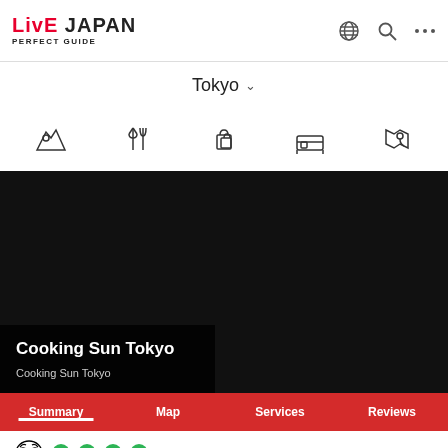[Figure (logo): LiveJapan Perfect Guide logo with red LIVE text and black JAPAN text]
[Figure (screenshot): Navigation icons: globe, search, more (...)]
Tokyo ∨
[Figure (infographic): Category navigation icons: sightseeing, dining (fork and knife), shopping bags, hotel/bed, map pin]
[Figure (photo): Dark hero banner image for Cooking Sun Tokyo]
Cooking Sun Tokyo
Cooking Sun Tokyo
Summary  Map  Services  Reviews
View Reviews